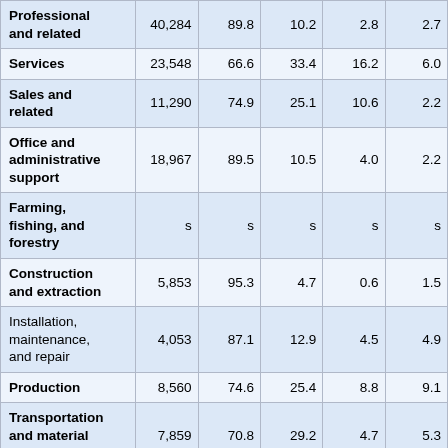| Professional and related | 40,284 | 89.8 | 10.2 | 2.8 | 2.7 |
| Services | 23,548 | 66.6 | 33.4 | 16.2 | 6.0 |
| Sales and related | 11,290 | 74.9 | 25.1 | 10.6 | 2.2 |
| Office and administrative support | 18,967 | 89.5 | 10.5 | 4.0 | 2.2 |
| Farming, fishing, and forestry | s | s | s | s | s |
| Construction and extraction | 5,853 | 95.3 | 4.7 | 0.6 | 1.5 |
| Installation, maintenance, and repair | 4,053 | 87.1 | 12.9 | 4.5 | 4.9 |
| Production | 8,560 | 74.6 | 25.4 | 8.8 | 9.1 |
| Transportation and material moving | 7,859 | 70.8 | 29.2 | 4.7 | 5.3 |